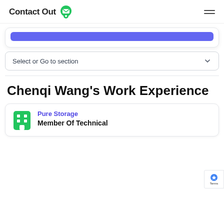ContactOut
[Figure (screenshot): Blue button (partially visible, cropped at top)]
Select or Go to section
Chenqi Wang's Work Experience
Pure Storage
Member Of Technical